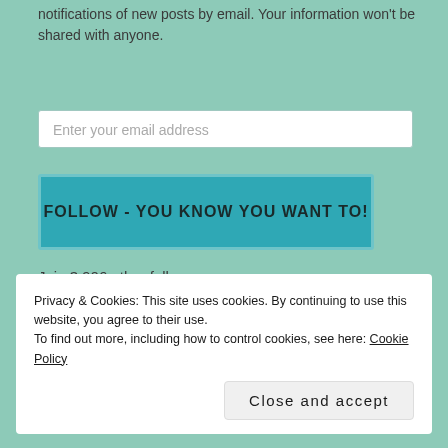notifications of new posts by email. Your information won't be shared with anyone.
[Figure (screenshot): Email input field with placeholder text 'Enter your email address']
[Figure (screenshot): Teal button with text 'FOLLOW - YOU KNOW YOU WANT TO!']
Join 3,906 other followers
[Figure (screenshot): WordPress Follow button labeled 'Follow Life and Other Disasters']
Privacy & Cookies: This site uses cookies. By continuing to use this website, you agree to their use.
To find out more, including how to control cookies, see here: Cookie Policy
Close and accept